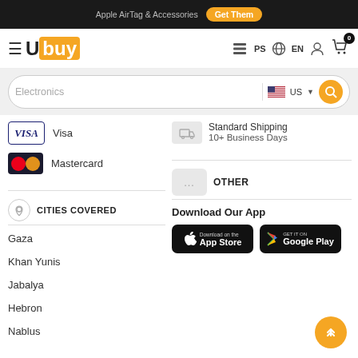Apple AirTag & Accessories  Get Them
[Figure (logo): Ubuy logo with hamburger menu, PS flag, EN language, user and cart icons in navigation bar]
Electronics  US (search bar)
Visa
Standard Shipping
10+ Business Days
Mastercard
CITIES COVERED
OTHER
Gaza
Khan Yunis
Jabalya
Hebron
Nablus
Download Our App
[Figure (screenshot): App Store download button]
[Figure (screenshot): Google Play download button]